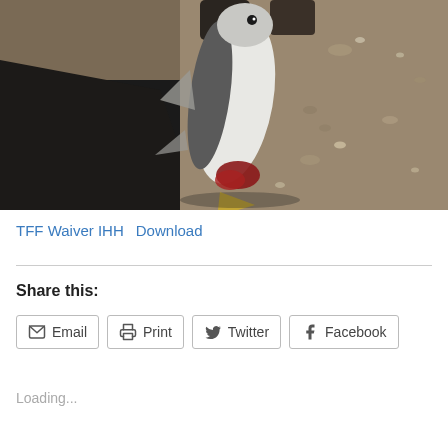[Figure (photo): A large fish being held up by a person on a sandy beach, the fish hanging head-down showing its white belly and dark back, with sand and pebbles visible in the background.]
TFF Waiver IHH   Download
Share this:
Email   Print   Twitter   Facebook
Loading...